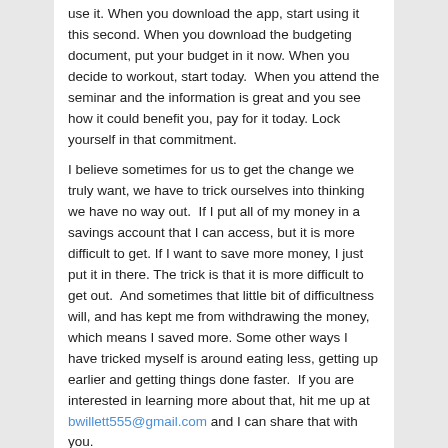use it. When you download the app, start using it this second. When you download the budgeting document, put your budget in it now. When you decide to workout, start today.  When you attend the seminar and the information is great and you see how it could benefit you, pay for it today. Lock yourself in that commitment.
I believe sometimes for us to get the change we truly want, we have to trick ourselves into thinking we have no way out.  If I put all of my money in a savings account that I can access, but it is more difficult to get. If I want to save more money, I just put it in there. The trick is that it is more difficult to get out.  And sometimes that little bit of difficultness will, and has kept me from withdrawing the money, which means I saved more. Some other ways I have tricked myself is around eating less, getting up earlier and getting things done faster.  If you are interested in learning more about that, hit me up at bwillett555@gmail.com and I can share that with you.
Create a plan for your success:   The old saying is true